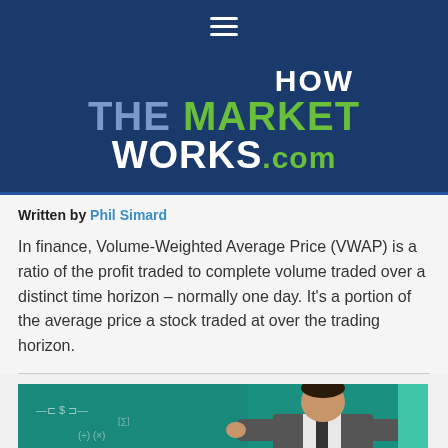HOW THE MARKET WORKS.com
Written by Phil Simard
In finance, Volume-Weighted Average Price (VWAP) is a ratio of the profit traded to complete volume traded over a distinct time horizon – normally one day. It's a portion of the average price a stock traded at over the trading horizon.
[Figure (photo): Photo of a person in a suit standing in front of a teal chalkboard with financial formulas and equations written on it.]